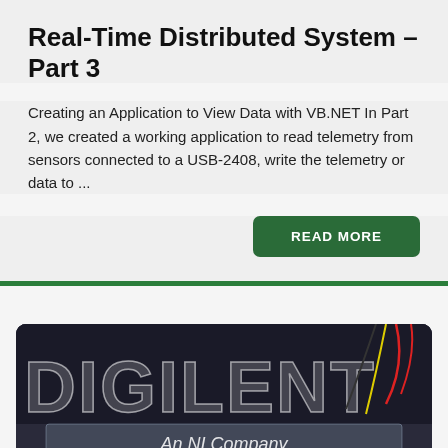Real-Time Distributed System – Part 3
Creating an Application to View Data with VB.NET In Part 2, we created a working application to read telemetry from sensors connected to a USB-2408, write the telemetry or data to ...
READ MORE
[Figure (photo): Photo of a Digilent branded acrylic sign with 'An NI Company' text, illuminated by LEDs on a breadboard with various electronic components and wires.]